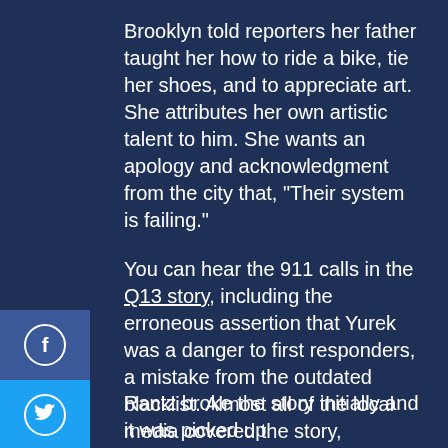Brooklyn told reporters her father taught her how to ride a bike, tie her shoes, and to appreciate art. She attributes her own artistic talent to him. She wants an apology and acknowledgment from the city that, "Their system is failing."
You can hear the 911 calls in the Q13 story, including the erroneous assertion that Yurek was a danger to first responders, a mistake from the outdated blacklist. Almost all of the local media covered the story, including KOMO TV, Seattle Times, and local radio, including Jason Rantz, Ari Hoffmann, and John Carlson.
Rantz broke the story initially and it was picked up